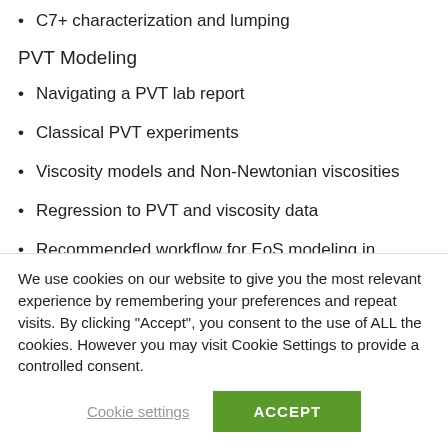C7+ characterization and lumping
PVT Modeling
Navigating a PVT lab report
Classical PVT experiments
Viscosity models and Non-Newtonian viscosities
Regression to PVT and viscosity data
Recommended workflow for EoS modeling in PVTsim
We use cookies on our website to give you the most relevant experience by remembering your preferences and repeat visits. By clicking “Accept”, you consent to the use of ALL the cookies. However you may visit Cookie Settings to provide a controlled consent.